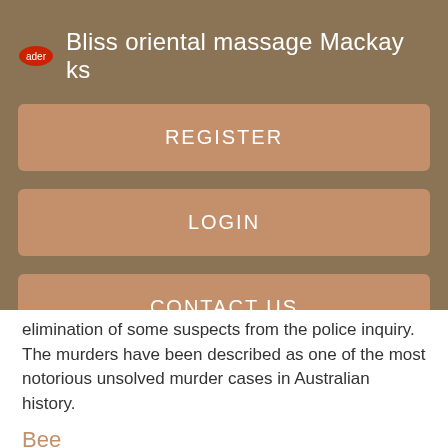Bliss oriental massage Mackay ks
REGISTER
LOGIN
CONTACT US
elimination of some suspects from the police inquiry. The murders have been described as one of the most notorious unsolved murder cases in Australian history.
Bee
Age: 53
Country: Australia